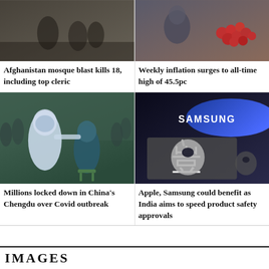[Figure (photo): Afghanistan mosque blast scene, dark outdoor setting with figures]
Afghanistan mosque blast kills 18, including top cleric
[Figure (photo): Person holding red berries or tomatoes, inflation context]
Weekly inflation surges to all-time high of 45.5pc
[Figure (photo): COVID testing scene in China, healthcare worker in PPE swabbing person's throat, crowd in background]
Millions locked down in China's Chengdu over Covid outbreak
[Figure (photo): Samsung logo in blue and Apple logo in silver/grey, dark background]
Apple, Samsung could benefit as India aims to speed product safety approvals
IMAGES